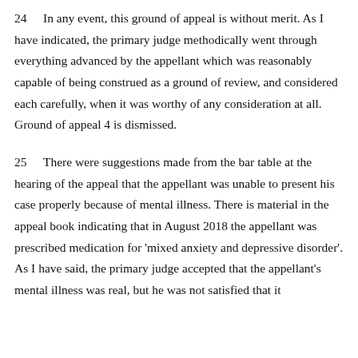24    In any event, this ground of appeal is without merit. As I have indicated, the primary judge methodically went through everything advanced by the appellant which was reasonably capable of being construed as a ground of review, and considered each carefully, when it was worthy of any consideration at all. Ground of appeal 4 is dismissed.
25    There were suggestions made from the bar table at the hearing of the appeal that the appellant was unable to present his case properly because of mental illness. There is material in the appeal book indicating that in August 2018 the appellant was prescribed medication for 'mixed anxiety and depressive disorder'. As I have said, the primary judge accepted that the appellant's mental illness was real, but he was not satisfied that it